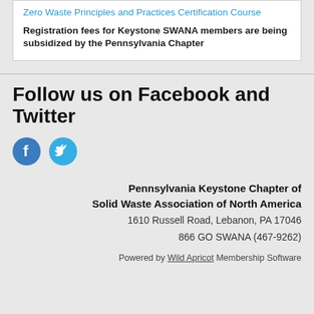Zero Waste Principles and Practices Certification Course
Registration fees for Keystone SWANA members are being subsidized by the Pennsylvania Chapter
Follow us on Facebook and Twitter
[Figure (illustration): Facebook and Twitter circular social media icons in blue]
Pennsylvania Keystone Chapter of Solid Waste Association of North America
1610 Russell Road, Lebanon, PA 17046
866 GO SWANA (467-9262)
Powered by Wild Apricot Membership Software